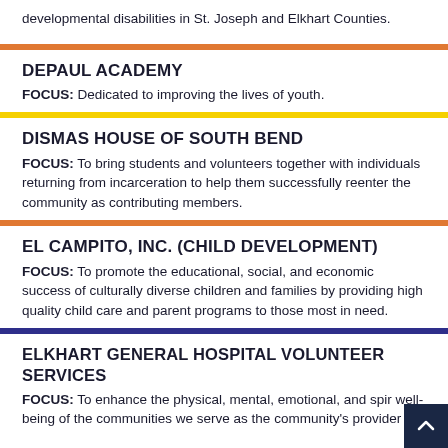developmental disabilities in St. Joseph and Elkhart Counties.
DEPAUL ACADEMY
FOCUS: Dedicated to improving the lives of youth.
DISMAS HOUSE OF SOUTH BEND
FOCUS: To bring students and volunteers together with individuals returning from incarceration to help them successfully reenter the community as contributing members.
EL CAMPITO, INC. (CHILD DEVELOPMENT)
FOCUS: To promote the educational, social, and economic success of culturally diverse children and families by providing high quality child care and parent programs to those most in need.
ELKHART GENERAL HOSPITAL VOLUNTEER SERVICES
FOCUS: To enhance the physical, mental, emotional, and spir well-being of the communities we serve as the community's provider